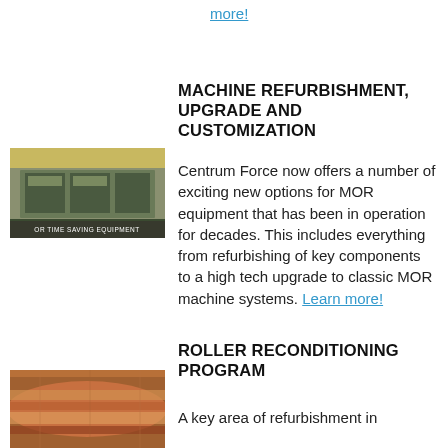more!
[Figure (photo): Industrial MOR machine equipment on factory floor with yellow crane visible, label reads 'OR TIME SAVING EQUIPMENT']
MACHINE REFURBISHMENT, UPGRADE AND CUSTOMIZATION
Centrum Force now offers a number of exciting new options for MOR equipment that has been in operation for decades. This includes everything from refurbishing of key components to a high tech upgrade to classic MOR machine systems. Learn more!
ROLLER RECONDITIONING PROGRAM
[Figure (photo): Close-up of copper/bronze colored industrial rollers]
A key area of refurbishment in